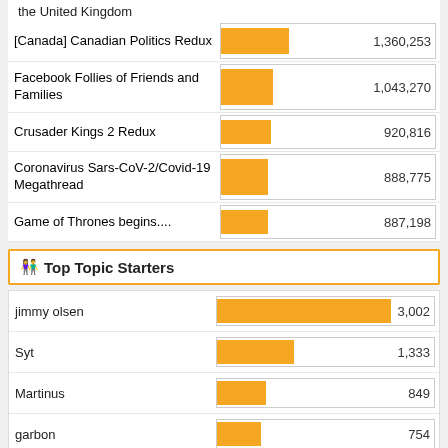the United Kingdom
[Canada] Canadian Politics Redux — 1,360,253
Facebook Follies of Friends and Families — 1,043,270
Crusader Kings 2 Redux — 920,816
Coronavirus Sars-CoV-2/Covid-19 Megathread — 888,775
Game of Thrones begins.... — 887,198
👥 Top Topic Starters
[Figure (bar-chart): Top Topic Starters]